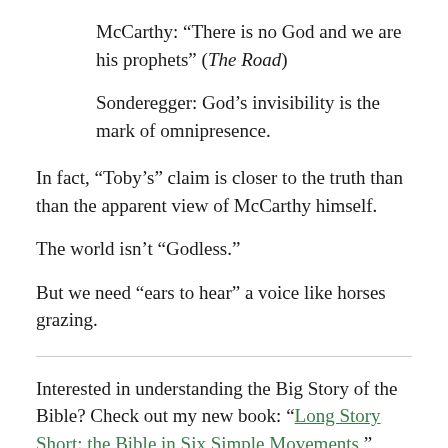McCarthy: “There is no God and we are his prophets” (The Road)
Sonderegger: God’s invisibility is the mark of omnipresence.
In fact, “Toby’s” claim is closer to the truth than than the apparent view of McCarthy himself.
The world isn’t “Godless.”
But we need “ears to hear” a voice like horses grazing.
Interested in understanding the Big Story of the Bible? Check out my new book: “Long Story Short: the Bible in Six Simple Movements,” available with